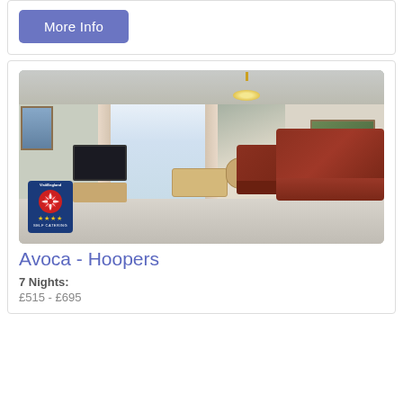More Info
[Figure (photo): Interior photo of a living room with leather sofas, a flat-screen TV, dining table with chairs, bay window, chandelier, and decorative wallpaper. A VisitEngland 4-star Self Catering badge is overlaid in the bottom-left corner.]
Avoca - Hoopers
7 Nights:
£515 - £695